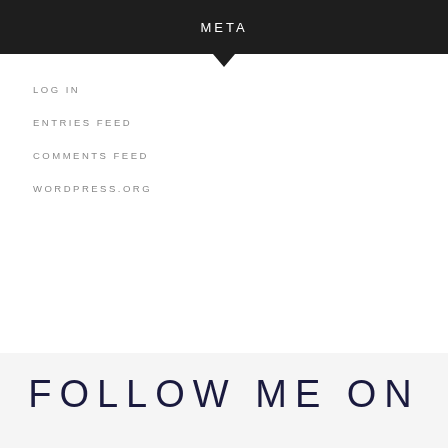META
LOG IN
ENTRIES FEED
COMMENTS FEED
WORDPRESS.ORG
FOLLOW ME ON